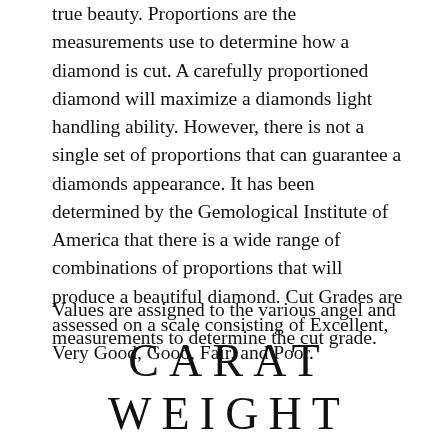true beauty. Proportions are the measurements use to determine how a diamond is cut. A carefully proportioned diamond will maximize a diamonds light handling ability. However, there is not a single set of proportions that can guarantee a diamonds appearance. It has been determined by the Gemological Institute of America that there is a wide range of combinations of proportions that will produce a beautiful diamond. Cut Grades are assessed on a scale consisting of Excellent, Very Good, Good, Fair, and Poor.
Values are assigned to the various angel and measurements to determine the cut grade.
CARAT WEIGHT